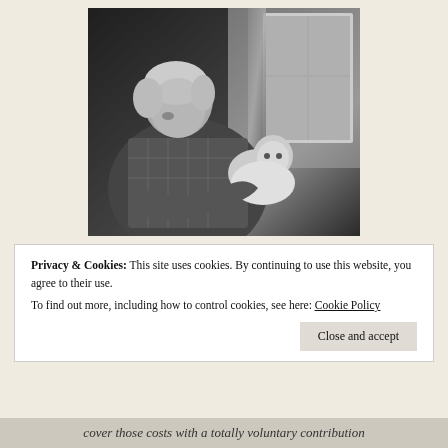[Figure (photo): Black and white vintage photograph of an older woman holding a baby. The woman has curly light hair and is wearing a patterned dress with a grid/floral design. She is looking down at the baby she cradles in her arms. A window and curtain are visible in the background.]
Privacy & Cookies: This site uses cookies. By continuing to use this website, you agree to their use.
To find out more, including how to control cookies, see here: Cookie Policy
Close and accept
cover those costs with a totally voluntary contribution